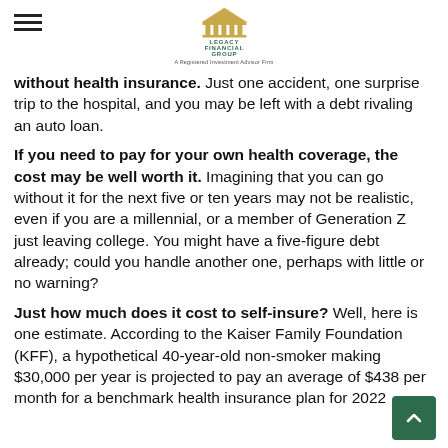Legacy Financial Group — A Registered Investment Advisor Firm
without health insurance. Just one accident, one surprise trip to the hospital, and you may be left with a debt rivaling an auto loan.
If you need to pay for your own health coverage, the cost may be well worth it. Imagining that you can go without it for the next five or ten years may not be realistic, even if you are a millennial, or a member of Generation Z just leaving college. You might have a five-figure debt already; could you handle another one, perhaps with little or no warning?
Just how much does it cost to self-insure? Well, here is one estimate. According to the Kaiser Family Foundation (KFF), a hypothetical 40-year-old non-smoker making $30,000 per year is projected to pay an average of $438 per month for a benchmark health insurance plan for 2022